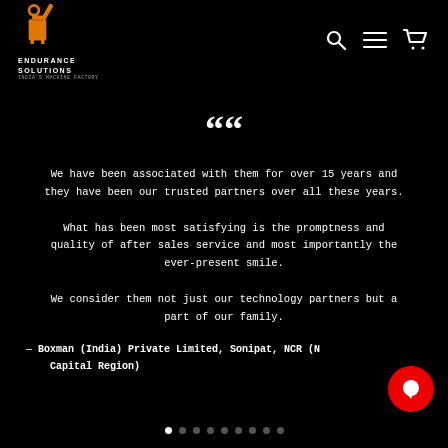[Figure (logo): Endurance Solutions logo with orange gear/tool icon and white text ENDURANCE SOLUTIONS]
[Figure (infographic): Navigation icons: search (magnifier), menu (hamburger), cart (shopping cart) in white on black background]
““
We have been associated with them for over 15 years and they have been our trusted partners over all these years.

What has been most satisfying is the promptness and quality of after sales service and most importantly the ever-present smile.

We consider them not just our technology partners but a part of our family.
— Boxman (India) Private Limited, Sonipat, NCR (N Capital Region)